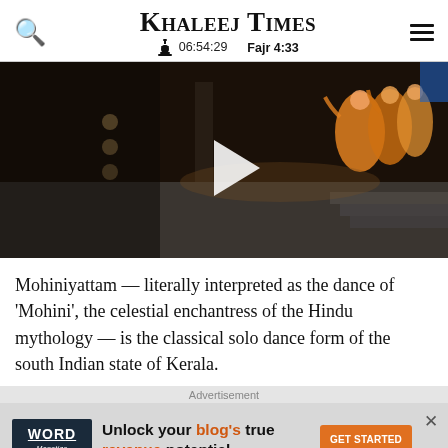Khaleej Times | 06:54:29 | Fajr 4:33
[Figure (screenshot): Video thumbnail showing classical Indian dancers in colorful yellow and orange costumes performing on a stage with dramatic lighting. A white play button triangle is centered on the image.]
Mohiniyattam — literally interpreted as the dance of 'Mohini', the celestial enchantress of the Hindu mythology — is the classical solo dance form of the south Indian state of Kerala.
Advertisement
[Figure (other): Advertisement banner: Word Monetize logo on left, text 'Unlock your blog's true revenue potential' in center with 'blog's' and 'revenue' highlighted in orange, GET STARTED button on right, close X button top right.]